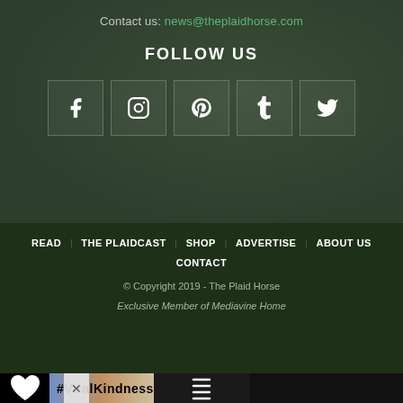Contact us: news@theplaidhorse.com
FOLLOW US
[Figure (other): Row of 5 social media icon boxes: Facebook, Instagram, Pinterest, Tumblr, Twitter]
READ
THE PLAIDCAST
SHOP
ADVERTISE
ABOUT US
CONTACT
© Copyright 2019 - The Plaid Horse
Exclusive Member of Mediavine Home
[Figure (photo): Advertisement banner showing #ViralKindness with silhouette of hands making a heart shape against a colorful sky]